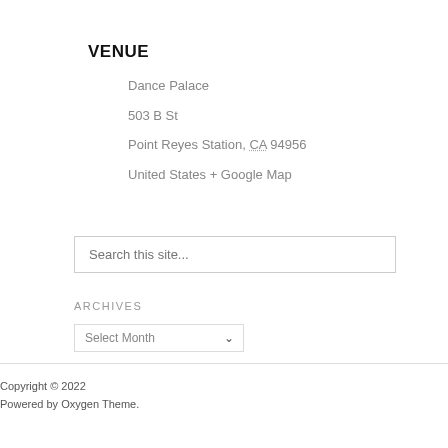VENUE
Dance Palace
503 B St
Point Reyes Station, CA 94956
United States + Google Map
Search this site...
ARCHIVES
Select Month
Copyright © 2022
Powered by Oxygen Theme.